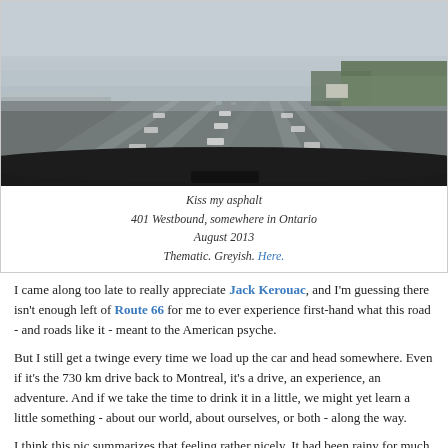[Figure (photo): View from inside a car on a wide multi-lane highway (Highway 401 Westbound) on a rainy grey day in Ontario. The road stretches ahead with lane markings visible, trees line the right side, and the car's dashboard is visible at the bottom.]
Kiss my asphalt
401 Westbound, somewhere in Ontario
August 2013
Thematic. Greyish. Here.
I came along too late to really appreciate Jack Kerouac, and I'm guessing there isn't enough left of Route 66 for me to ever experience first-hand what this road - and roads like it - meant to the American psyche.
But I still get a twinge every time we load up the car and head somewhere. Even if it's the 730 km drive back to Montreal, it's a drive, an experience, an adventure. And if we take the time to drink it in a little, we might yet learn a little something - about our world, about ourselves, or both - along the way.
I think this pic summarizes that feeling rather nicely. It had been rainy for much of the trip, and the kids were quietly doing their own thing in back. I was in the front passenger seat trying to amuse myself with my iPad, and as